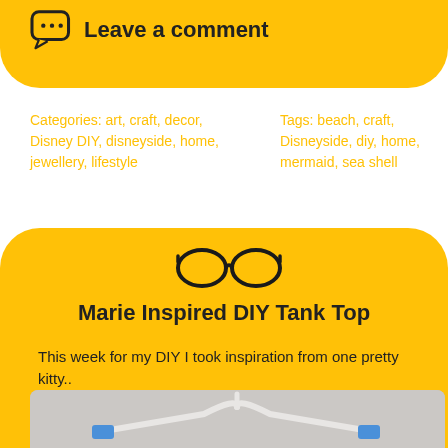Leave a comment
Categories: art, craft, decor, Disney DIY, disneyside, home, jewellery, lifestyle
Tags: beach, craft, Disneyside, diy, home, mermaid, sea shell
[Figure (illustration): Eyeglasses/spectacles icon in black outline style]
Marie Inspired DIY Tank Top
This week for my DIY I took inspiration from one pretty kitty..
[Figure (photo): Photo of a white garment hanger with blue clips on a light background]